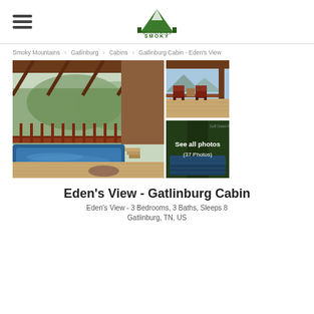[Figure (logo): Smoky Mountains logo with mountain and trees icon, green and white]
Smoky Mountains > Gatlinburg > Cabins > Gatlinburg Cabin - Eden's View
[Figure (photo): Main large photo: covered deck with hot tub and mountain view through trees]
[Figure (photo): Top right photo: covered porch with rocking chairs and mountain views]
[Figure (photo): Bottom right photo: exterior with swimming pool, overlaid with 'See all photos (37 Photos)']
Eden's View - Gatlinburg Cabin
Eden's View - 3 Bedrooms, 3 Baths, Sleeps 8
Gatlinburg, TN, US